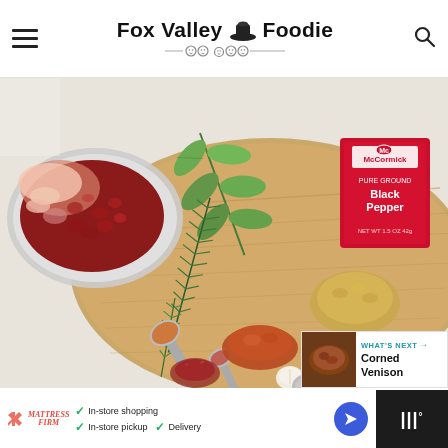Fox Valley Foodie
[Figure (photo): Food ingredients on a wooden cutting board: ground meat in a bowl, fresh sage and rosemary herbs, a McCormick Pure Ground Black Pepper tin, measuring spoons with spices (cinnamon, chili powder), crushed red pepper, garlic, and brown sugar on a white background.]
[Figure (infographic): What's Next panel showing Corned Venison with thumbnail image]
[Figure (infographic): Advertisement bar: Mattress Firm ad with in-store shopping, in-store pickup, delivery checkmarks, navigation arrow icon, and MW logo]